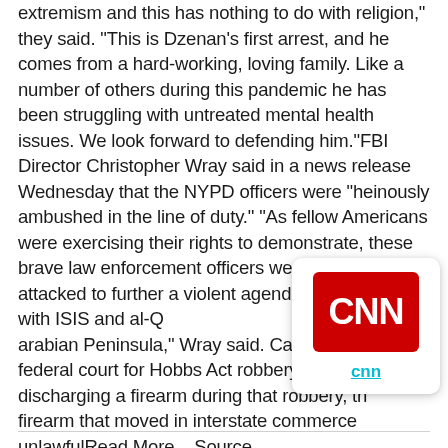extremism and this has nothing to do with religion," they said. "This is Dzenan's first arrest, and he comes from a hard-working, loving family. Like a number of others during this pandemic he has been struggling with untreated mental health issues. We look forward to defending him."FBI Director Christopher Wray said in a news release Wednesday that the NYPD officers were "heinously ambushed in the line of duty." "As fellow Americans were exercising their rights to demonstrate, these brave law enforcement officers were brutally attacked to further a violent agenda associated with ISIS and al-Qaeda in the Arabian Peninsula," Wray said. Camovic was charged in federal court for Hobbs Act robbery, using a firearm and discharging a firearm during that robbery, the use of a firearm that moved in interstate commerce and making unlawfulRead More – Source
[Figure (logo): CNN logo card with red square background showing white CNN text, and 'cnn' link text in teal below]